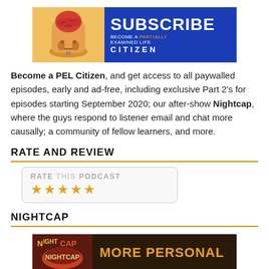[Figure (illustration): Subscribe banner: cartoon character with open brain on left (yellow/orange background), 'SUBSCRIBE' in large white letters on blue background, 'BECOME A PARTIALLY EXAMINED LIFE CITIZEN' text below]
Become a PEL Citizen, and get access to all paywalled episodes, early and ad-free, including exclusive Part 2's for episodes starting September 2020; our after-show Nightcap, where the guys respond to listener email and chat more causally; a community of fellow learners, and more.
RATE AND REVIEW
[Figure (other): Rate this podcast widget with 5 gold stars rating display]
NIGHTCAP
[Figure (illustration): Nightcap banner: NightCap logo on dark brown/red background on left, 'MORE PERSONAL' in orange text on dark background on right]